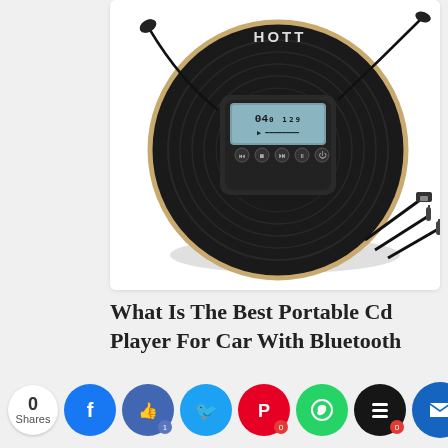[Figure (photo): HOTT brand portable CD player in black with gold trim, showing LCD display with track info, control buttons, earbuds/earphones attached via cord, and three cables (USB, two audio jacks) shown in bottom right corner]
What Is The Best Portable Cd Player For Car With Bluetooth
0 Shares
[Figure (infographic): Social share buttons row: 0 Shares counter, Facebook (blue f), Like/thumbs-up (dark blue), Twitter (light blue bird), Pinterest (red P with badge 0), WhatsApp (green phone), Buffer (black layers with badge 0), Mailvoila/other (dark blue crown)]